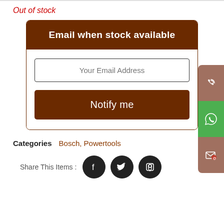Out of stock
Email when stock available
Your Email Address
Notify me
Categories   Bosch, Powertools
Share This Items :